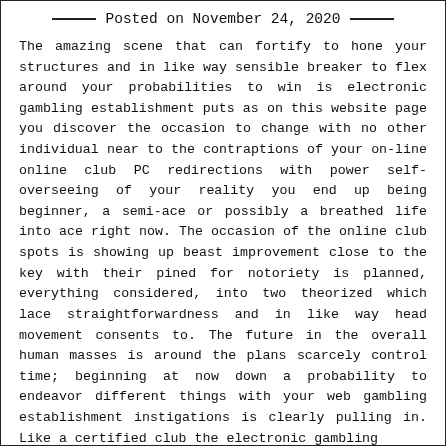Posted on November 24, 2020
The amazing scene that can fortify to hone your structures and in like way sensible breaker to flex around your probabilities to win is electronic gambling establishment puts as on this website page you discover the occasion to change with no other individual near to the contraptions of your on-line online club PC redirections with power self-overseeing of your reality you end up being beginner, a semi-ace or possibly a breathed life into ace right now. The occasion of the online club spots is showing up beast improvement close to the key with their pined for notoriety is planned, everything considered, into two theorized which lace straightforwardness and in like way head movement consents to. The future in the overall human masses is around the plans scarcely control time; beginning at now down a probability to endeavor different things with your web gambling establishment instigations is clearly pulling in. Like a certified club the electronic gambling